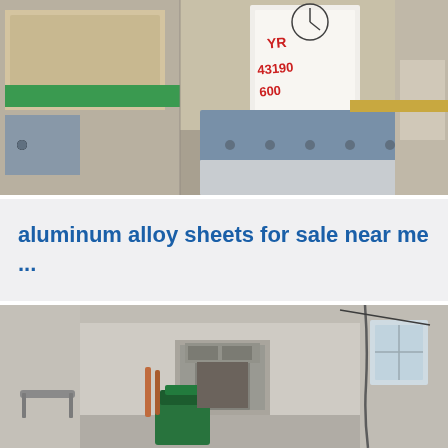[Figure (photo): Interior photo showing aluminum alloy sheets and metal panels leaning against a worn concrete wall, with a green stripe on one panel and a handwritten sign/tag with red text visible in the upper portion.]
aluminum alloy sheets for sale near me ...
[Figure (photo): Interior of an industrial or workshop space with bare concrete walls, a green machine or equipment visible on the floor, a doorway in the center background, and a window on the right wall with visible electrical conduit.]